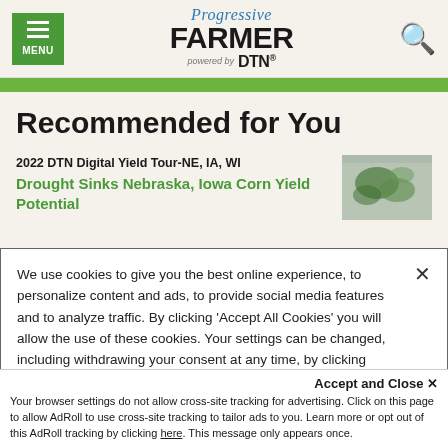MENU | Progressive FARMER powered by DTN
Recommended for You
2022 DTN Digital Yield Tour-NE, IA, WI
Drought Sinks Nebraska, Iowa Corn Yield Potential
We use cookies to give you the best online experience, to personalize content and ads, to provide social media features and to analyze traffic. By clicking 'Accept All Cookies' you will allow the use of these cookies. Your settings can be changed, including withdrawing your consent at any time, by clicking 'Cookie Settings'. Find out more on how we and third parties use cookies in our Cookie Policy
Accept and Close ×
Your browser settings do not allow cross-site tracking for advertising. Click on this page to allow AdRoll to use cross-site tracking to tailor ads to you. Learn more or opt out of this AdRoll tracking by clicking here. This message only appears once.